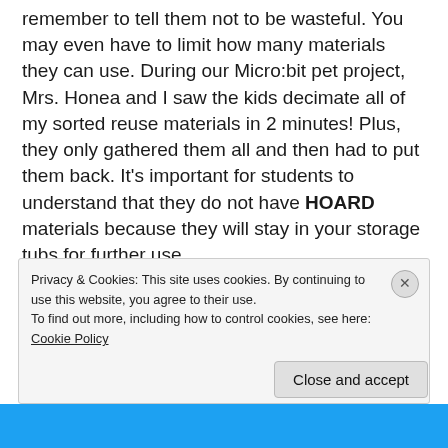remember to tell them not to be wasteful. You may even have to limit how many materials they can use. During our Micro:bit pet project, Mrs. Honea and I saw the kids decimate all of my sorted reuse materials in 2 minutes! Plus, they only gathered them all and then had to put them back. It's important for students to understand that they do not have HOARD materials because they will stay in your storage tubs for further use.
[Figure (screenshot): Embedded tweet from Colleen Graves (@gravescolleen) with Follow button and Twitter bird icon. Tweet text begins: 'Some of my favorite #makerspace']
Privacy & Cookies: This site uses cookies. By continuing to use this website, you agree to their use.
To find out more, including how to control cookies, see here: Cookie Policy
Close and accept